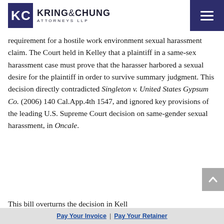Kring & Chung Attorneys LLP
requirement for a hostile work environment sexual harassment claim. The Court held in Kelley that a plaintiff in a same-sex harassment case must prove that the harasser harbored a sexual desire for the plaintiff in order to survive summary judgment. This decision directly contradicted Singleton v. United States Gypsum Co. (2006) 140 Cal.App.4th 1547, and ignored key provisions of the leading U.S. Supreme Court decision on same-gender sexual harassment, in Oncale.
Pay Your Invoice | Pay Your Retainer